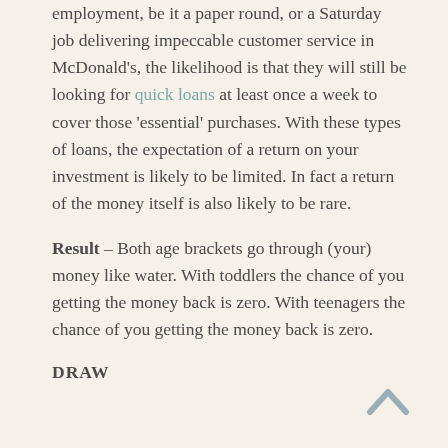employment, be it a paper round, or a Saturday job delivering impeccable customer service in McDonald's, the likelihood is that they will still be looking for quick loans at least once a week to cover those 'essential' purchases. With these types of loans, the expectation of a return on your investment is likely to be limited. In fact a return of the money itself is also likely to be rare.
Result – Both age brackets go through (your) money like water. With toddlers the chance of you getting the money back is zero. With teenagers the chance of you getting the money back is zero.
DRAW